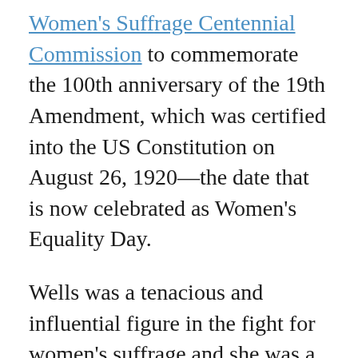Women's Suffrage Centennial Commission to commemorate the 100th anniversary of the 19th Amendment, which was certified into the US Constitution on August 26, 1920—the date that is now celebrated as Women's Equality Day.
Wells was a tenacious and influential figure in the fight for women's suffrage and she was a vocal critic of the arm of the movement that prioritized white women's right to vote over the rights of Black women, indigenous women, and women of color. The mosaic contains the portraits of a diverse array of suffragists that